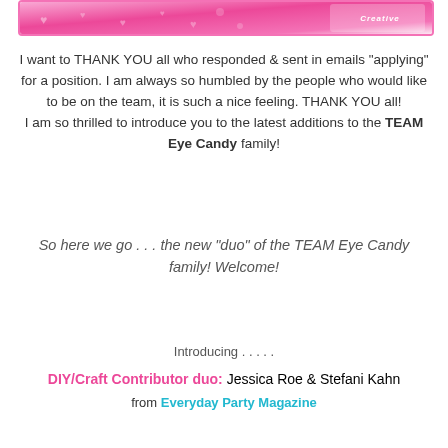[Figure (illustration): Pink decorative banner with heart patterns and 'Creative' text logo on the right side]
I want to THANK YOU all who responded & sent in emails "applying" for a position. I am always so humbled by the people who would like to be on the team, it is such a nice feeling. THANK YOU all!
I am so thrilled to introduce you to the latest additions to the TEAM Eye Candy family!
So here we go . . . the new "duo" of the TEAM Eye Candy family! Welcome!
Introducing . . . . .
DIY/Craft Contributor duo: Jessica Roe & Stefani Kahn from Everyday Party Magazine